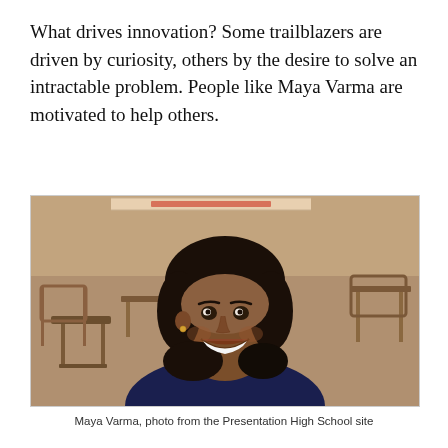What drives innovation? Some trailblazers are driven by curiosity, others by the desire to solve an intractable problem. People like Maya Varma are motivated to help others.
[Figure (photo): Photo of Maya Varma, a smiling young woman with dark hair, seated in a classroom with desks and chairs visible in the background.]
Maya Varma, photo from the Presentation High School site